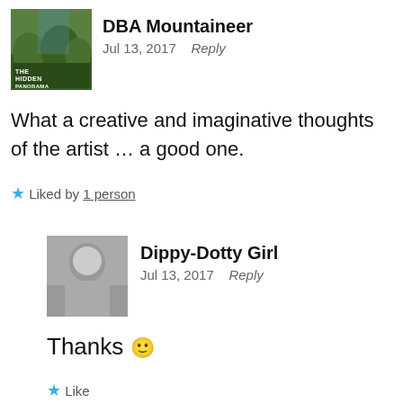[Figure (photo): Avatar thumbnail for DBA Mountaineer showing a mountain landscape with text 'THE HIDDEN PANORAMA']
DBA Mountaineer
Jul 13, 2017   Reply
What a creative and imaginative thoughts of the artist ... a good one.
★ Liked by 1 person
[Figure (photo): Avatar thumbnail for Dippy-Dotty Girl showing a black and white photo of a girl]
Dippy-Dotty Girl
Jul 13, 2017   Reply
Thanks 🙂
★ Like